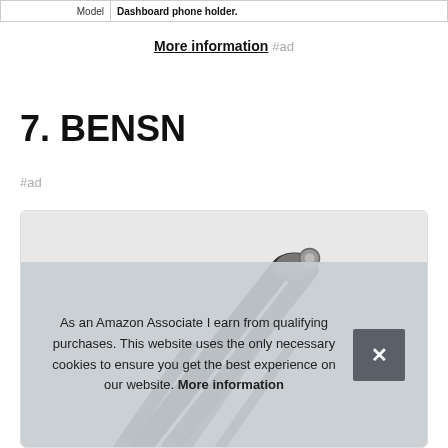| Model | Dashboard phone holder |
| --- | --- |
More information #ad
7. BENSN
#ad
[Figure (photo): Product photo of BENSN car phone holder/cable, partially visible]
As an Amazon Associate I earn from qualifying purchases. This website uses the only necessary cookies to ensure you get the best experience on our website. More information